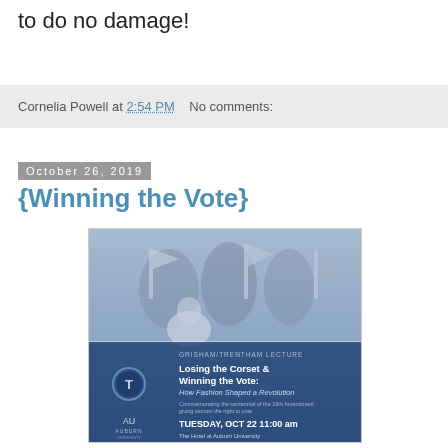to do no damage!
Cornelia Powell at 2:54 PM   No comments:
October 26, 2019
{Winning the Vote}
[Figure (illustration): Event flyer for Grisham/Trentham Lecture: 'Losing the Corset & Winning the Vote: How Fashion Shaped a Revolution' — Tuesday, Oct 22, 11:00 am, The Hotel at Auburn University. Features a historical black-and-white photo of women with flags, Auburn University logo, and a circular T logo. Blue gradient background.]